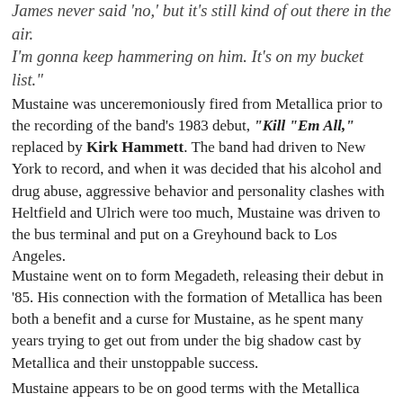James never said 'no,' but it's still kind of out there in the air. I'm gonna keep hammering on him. It's on my bucket list."
Mustaine was unceremoniously fired from Metallica prior to the recording of the band's 1983 debut, "Kill "Em All," replaced by Kirk Hammett. The band had driven to New York to record, and when it was decided that his alcohol and drug abuse, aggressive behavior and personality clashes with Heltfield and Ulrich were too much, Mustaine was driven to the bus terminal and put on a Greyhound back to Los Angeles.
Mustaine went on to form Megadeth, releasing their debut in '85. His connection with the formation of Metallica has been both a benefit and a curse for Mustaine, as he spent many years trying to get out from under the big shadow cast by Metallica and their unstoppable success.
Mustaine appears to be on good terms with the Metallica brothers, and having since been a part of the Big Four...